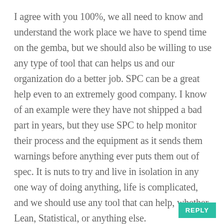I agree with you 100%, we all need to know and understand the work place we have to spend time on the gemba, but we should also be willing to use any type of tool that can helps us and our organization do a better job. SPC can be a great help even to an extremely good company. I know of an example were they have not shipped a bad part in years, but they use SPC to help monitor their process and the equipment as it sends them warnings before anything ever puts them out of spec. It is nuts to try and live in isolation in any one way of doing anything, life is complicated, and we should use any tool that can help, whether Lean, Statistical, or anything else.